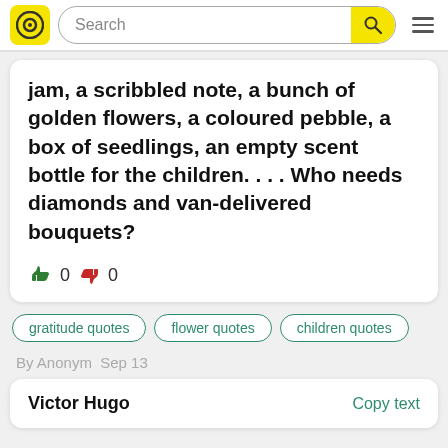Search
jam, a scribbled note, a bunch of golden flowers, a coloured pebble, a box of seedlings, an empty scent bottle for the children. . . . Who needs diamonds and van-delivered bouquets?
👍 0 👎 0
gratitude quotes
flower quotes
children quotes
By Anonym  Sep 13
Victor Hugo    Copy text